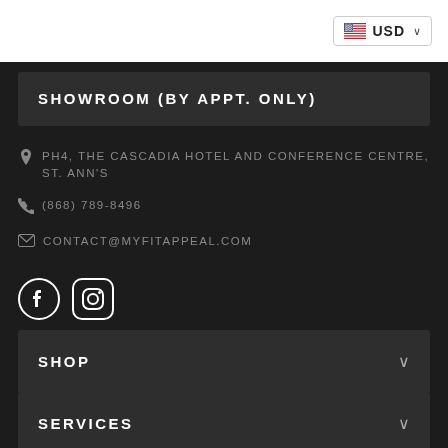USD
SHOWROOM (BY APPT. ONLY)
PH4, THE CASCADIA HOTEL AND CONFERENCE CENTRE, ST. ANN'S
(868) 789-8496
CONTACT@MYFITAPPEAL.COM
[Figure (illustration): Facebook and Instagram social media icons]
SHOP
SERVICES
MY ACCOUNT